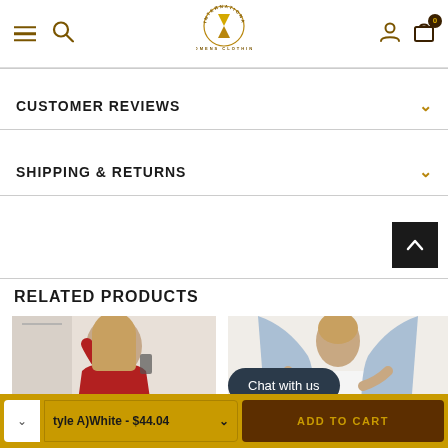International Womens Clothing — navigation with hamburger menu, search, logo, user icon, cart (0)
CUSTOMER REVIEWS
SHIPPING & RETURNS
RELATED PRODUCTS
[Figure (photo): Woman in red one-shoulder dress, product listing photo]
[Figure (photo): Woman in light blue draped outfit, product listing photo]
Chat with us
tyle A)White - $44.04
ADD TO CART